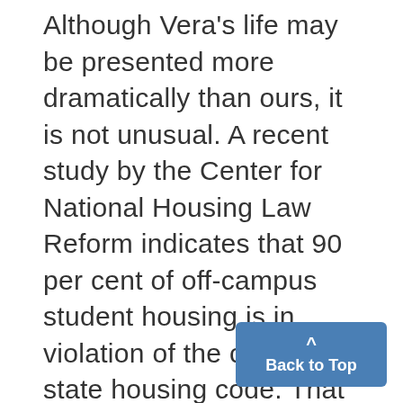Although Vera's life may be presented more dramatically than ours, it is not unusual. A recent study by the Center for National Housing Law Reform indicates that 90 per cent of off-campus student housing is in violation of the city and/or state housing code. That means, in effect, that 90 per cent of those tenants have a legal right g to be onarent strike. Most peo-lations Vera exnerienced, such e as the ragged carpet, the